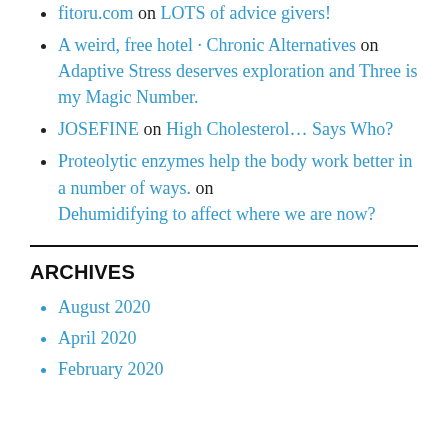fitoru.com on LOTS of advice givers!
A weird, free hotel · Chronic Alternatives on Adaptive Stress deserves exploration and Three is my Magic Number.
JOSEFINE on High Cholesterol… Says Who?
Proteolytic enzymes help the body work better in a number of ways. on Dehumidifying to affect where we are now?
ARCHIVES
August 2020
April 2020
February 2020